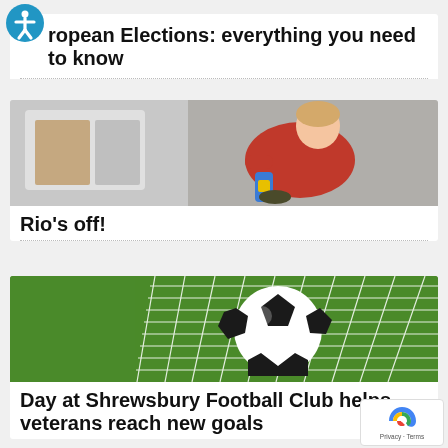ropean Elections: everything you need to know
[Figure (photo): Child in red shirt sitting on floor with a colorful prosthetic leg, smiling]
Rio's off!
[Figure (photo): A black and white soccer ball against a goal net with green grass background]
Day at Shrewsbury Football Club helps veterans reach new goals